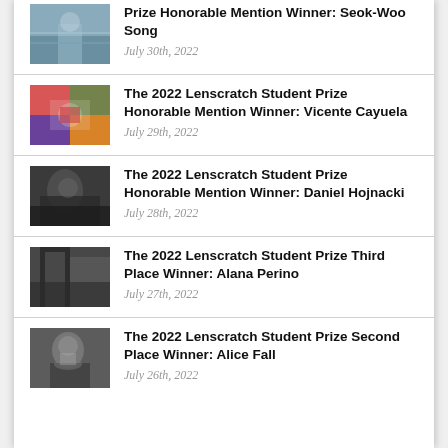Prize Honorable Mention Winner: Seok-Woo Song
July 30th, 2022
The 2022 Lenscratch Student Prize Honorable Mention Winner: Vicente Cayuela
July 29th, 2022
The 2022 Lenscratch Student Prize Honorable Mention Winner: Daniel Hojnacki
July 28th, 2022
The 2022 Lenscratch Student Prize Third Place Winner: Alana Perino
July 27th, 2022
The 2022 Lenscratch Student Prize Second Place Winner: Alice Fall
July 26th, 2022